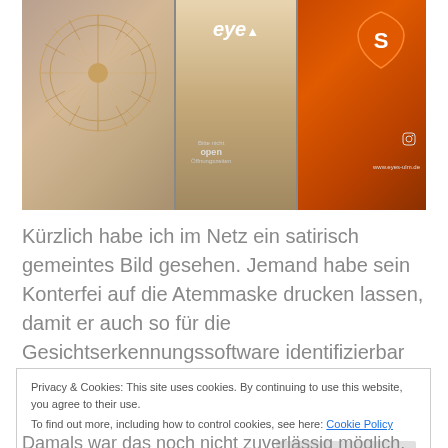[Figure (photo): Storefront of an optician shop called 'eye' with decorative mandala lamp on the left panel, center panel showing 'eye' signage and open sign, right panel with orange background and S-shaped logo shield]
Kürzlich habe ich im Netz ein satirisch gemeintes Bild gesehen. Jemand habe sein Konterfei auf die Atemmaske drucken lassen, damit er auch so für die Gesichtserkennungssoftware identifizierbar bleibt.
Privacy & Cookies: This site uses cookies. By continuing to use this website, you agree to their use.
To find out more, including how to control cookies, see here: Cookie Policy
[Close and accept]
Damals war das noch nicht zuverlässig möglich. Und